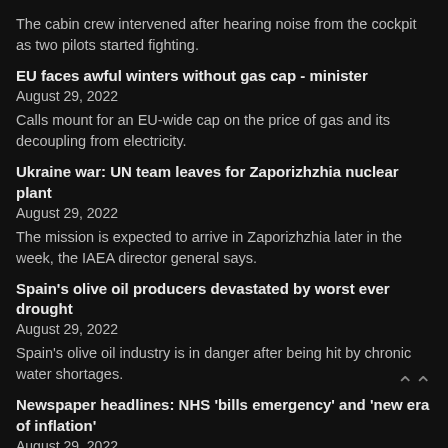The cabin crew intervened after hearing noise from the cockpit as two pilots started fighting.
EU faces awful winters without gas cap - minister
August 29, 2022
Calls mount for an EU-wide cap on the price of gas and its decoupling from electricity.
Ukraine war: UN team leaves for Zaporizhzhia nuclear plant
August 29, 2022
The mission is expected to arrive in Zaporizhzhia later in the week, the IAEA director general says.
Spain's olive oil producers devastated by worst ever drought
August 29, 2022
Spain's olive oil industry is in danger after being hit by chronic water shortages.
Newspaper headlines: NHS 'bills emergency' and 'new era of inflation'
August 29, 2022
Rising pressures on hospital budgets and warnings about coming challenges for the global economy lead the papers.